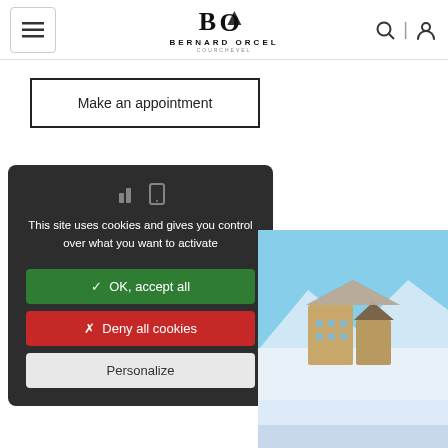Bernard Orcel — navigation header with menu, logo, search and account icons
Make an appointment
[Figure (screenshot): Cookie consent dialog on dark background with icons, green 'OK, accept all' button, red 'Deny all cookies' button, and white 'Personalize' button]
[Figure (photo): Snow-covered mountain resort buildings under blue sky]